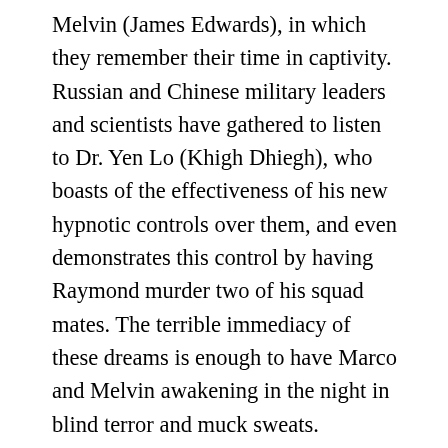Melvin (James Edwards), in which they remember their time in captivity. Russian and Chinese military leaders and scientists have gathered to listen to Dr. Yen Lo (Khigh Dhiegh), who boasts of the effectiveness of his new hypnotic controls over them, and even demonstrates this control by having Raymond murder two of his squad mates. The terrible immediacy of these dreams is enough to have Marco and Melvin awakening in the night in blind terror and muck sweats. Ironically, only Raymond seems not to be afflicted by such dreams, but this proves to be because he's the special object of these machinations, deeply implanted with a series of controls